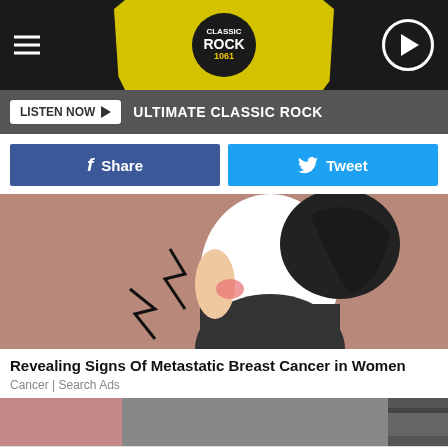[Figure (screenshot): Classic Rock 1057 radio station header banner with yellow splatter background, hamburger menu icon on left, Classic Rock logo center, circular play button on right]
LISTEN NOW  ULTIMATE CLASSIC ROCK
[Figure (other): Facebook Share button and Twitter Tweet button row]
[Figure (illustration): Illustration of a woman in white shirt grabbing her back/side with lightning bolt pain indicators on a mauve/pink-brown background]
Revealing Signs Of Metastatic Breast Cancer in Women
Cancer | Search Ads
[Figure (screenshot): Bottom advertisement: Goodyear Summer Savings - Virginia Tire & Auto of Ashburn with Goodyear logo and blue arrow icon]
[Figure (photo): Partial thumbnail images of outdoor scenes at bottom of page]